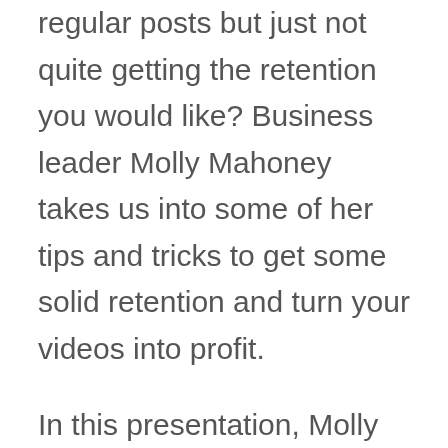regular posts but just not quite getting the retention you would like? Business leader Molly Mahoney takes us into some of her tips and tricks to get some solid retention and turn your videos into profit.
In this presentation, Molly entertains us with her gift of business (and song), allowing us to see inside how she uses bots on social media to help her business grow.
So, if you’re looking for a chance to grow your business with social media, keep reading to learn how she does it.